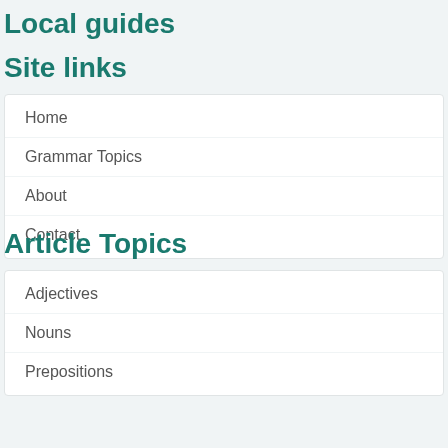Local guides
Site links
Home
Grammar Topics
About
Contact
Article Topics
Adjectives
Nouns
Prepositions